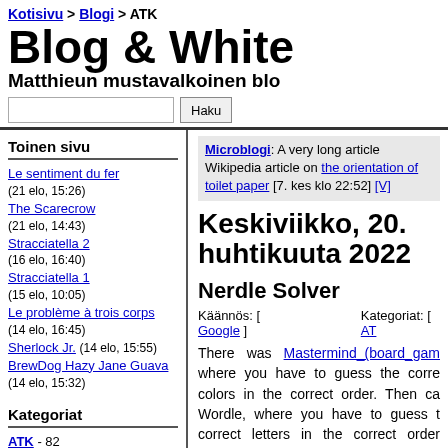Kotisivu > Blogi > ATK — Blog & White — Matthieun mustavalkoinen blogi
Toinen sivu
Le sentiment du fer (21 elo, 15:26)
The Scarecrow (21 elo, 14:43)
Stracciatella 2 (16 elo, 16:40)
Stracciatella 1 (15 elo, 10:05)
Le problème à trois corps (14 elo, 16:45)
Sherlock Jr. (14 elo, 15:55)
BrewDog Hazy Jane Guava (14 elo, 15:32)
Kategoriat
ATK - 82
Microblogi: A very long article Wikipedia article on the orientation of toilet paper [7. kes klo 22:52] [V]
Keskiviikko, 20. huhtikuuta 2022
Nerdle Solver
Käännös: [ Google ]   Kategoriat: [ ATK
There was Mastermind_(board_game) where you have to guess the correct colors in the correct order. Then came Wordle, where you have to guess the correct letters in the correct order to make an actual word. And then can